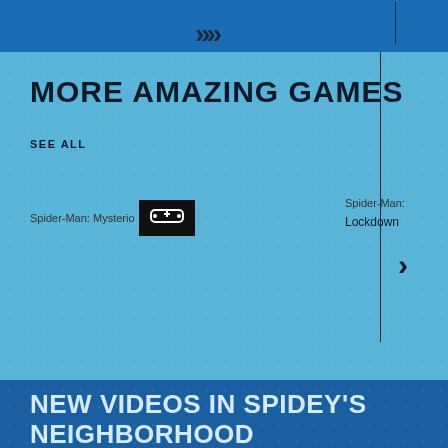MORE AMAZING GAMES
SEE ALL
[Figure (screenshot): Game card for Spider-Man: Mysterio's Web with controller icon overlay on dark background]
[Figure (screenshot): Game card for Spider-Man: Lockdown partially visible]
NEW VIDEOS IN SPIDEY'S NEIGHBORHOOD